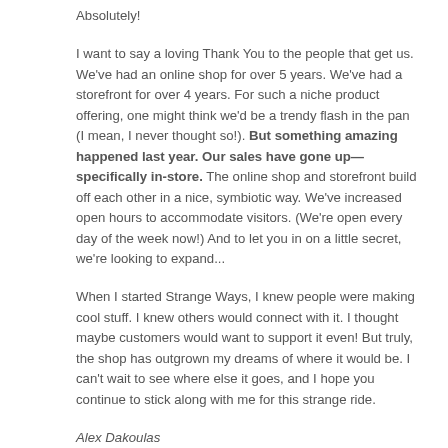Absolutely!
I want to say a loving Thank You to the people that get us. We've had an online shop for over 5 years. We've had a storefront for over 4 years. For such a niche product offering, one might think we'd be a trendy flash in the pan (I mean, I never thought so!). But something amazing happened last year. Our sales have gone up—specifically in-store. The online shop and storefront build off each other in a nice, symbiotic way. We've increased open hours to accommodate visitors. (We're open every day of the week now!) And to let you in on a little secret, we're looking to expand...
When I started Strange Ways, I knew people were making cool stuff. I knew others would connect with it. I thought maybe customers would want to support it even! But truly, the shop has outgrown my dreams of where it would be. I can't wait to see where else it goes, and I hope you continue to stick along with me for this strange ride.
Alex Dakoulas
Founder & Creative Director